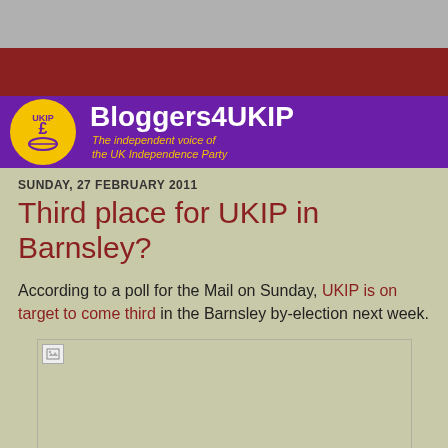[Figure (logo): Bloggers4UKIP website header with purple background, UKIP yellow circular badge on left, white bold text 'Bloggers4UKIP', and yellow italic tagline 'The independent voice of the UK Independence Party']
SUNDAY, 27 FEBRUARY 2011
Third place for UKIP in Barnsley?
According to a poll for the Mail on Sunday, UKIP is on target to come third in the Barnsley by-election next week.
[Figure (photo): Broken/missing image placeholder]